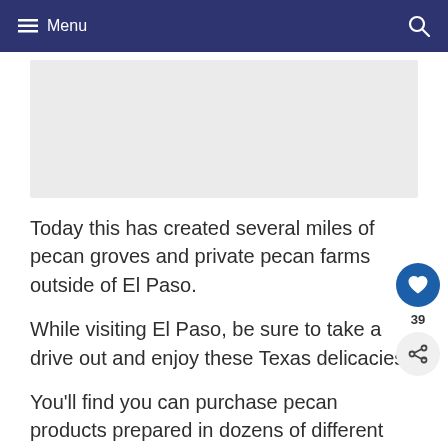≡ Menu
[Figure (other): Light gray rectangular image placeholder area]
Today this has created several miles of pecan groves and private pecan farms outside of El Paso.
While visiting El Paso, be sure to take a drive out and enjoy these Texas delicacies.
You'll find you can purchase pecan products prepared in dozens of different ways.